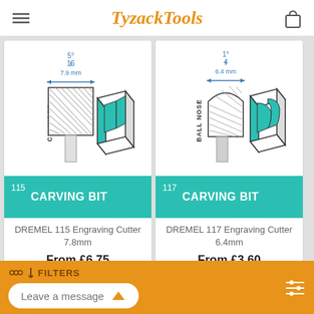TyzackTools
[Figure (illustration): Dremel 115 cylinder carving bit diagram showing bit dimensions: 5/16 inch (7.9mm) width, with cylinder label, and a 3D illustration of the bit in use on a block]
115 CARVING BIT
DREMEL 115 Engraving Cutter 7.8mm
From £6.75
[Figure (illustration): Dremel 117 ball nose carving bit diagram showing bit dimensions: 1/4 inch (6.4mm) width, with ball nose label, and a 3D illustration of the bit in use on a block]
117 CARVING BIT
DREMEL 117 Engraving Cutter 6.4mm
From £3.60
[Figure (illustration): Partial product card showing 1/8 inch (3.2mm) measurement]
[Figure (illustration): Partial product card showing 1/4 inch (6.4mm) measurement]
Leave a message | FILTERS